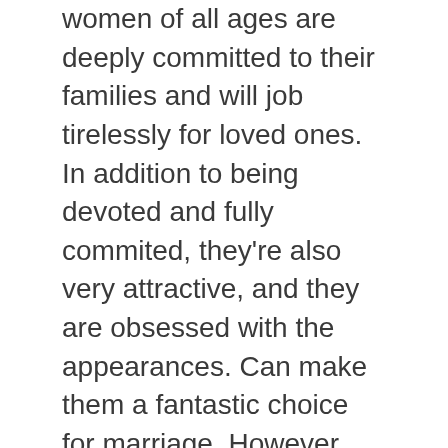women of all ages are deeply committed to their families and will job tirelessly for loved ones. In addition to being devoted and fully commited, they're also very attractive, and they are obsessed with the appearances. Can make them a fantastic choice for marriage. However , you'll want to learn how to cope with these psychological characteristics before you make the big stage.
Men thinking about meeting a Venezuelan girl should respect her culture and be sincere of her traditions. Is actually not always really worth the risk. For anyone who is unfamiliar with the tradition, it is best to get help from an associate of the woman to ensure occur to be on the right